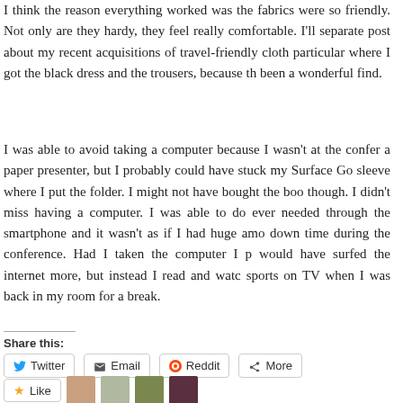I think the reason everything worked was the fabrics were so friendly. Not only are they hardy, they feel really comfortable. I'll separate post about my recent acquisitions of travel-friendly cloth particular where I got the black dress and the trousers, because th been a wonderful find.
I was able to avoid taking a computer because I wasn't at the confer a paper presenter, but I probably could have stuck my Surface Go sleeve where I put the folder. I might not have bought the boo though. I didn't miss having a computer. I was able to do ever needed through the smartphone and it wasn't as if I had huge amo down time during the conference. Had I taken the computer I p would have surfed the internet more, but instead I read and watc sports on TV when I was back in my room for a break.
Share this:
Twitter  Email  Reddit  More
Like
4 bloggers like this.